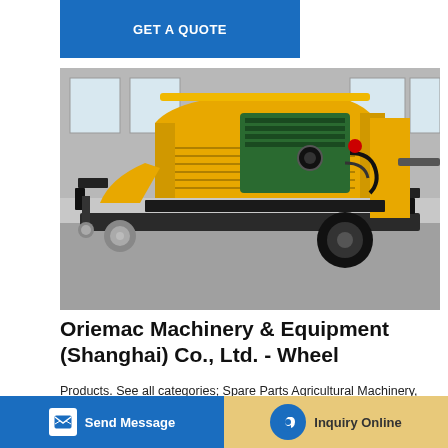GET A QUOTE
[Figure (photo): Yellow diesel concrete pump on a wheeled trailer, with green engine visible under open hood, parked in an industrial facility]
Oriemac Machinery & Equipment (Shanghai) Co., Ltd. - Wheel
Products. See all categories; Spare Parts Agricultural Machinery, Mining Machinery 25TON Zoomlion New hydraulic Crane M... Zoomlio...
Send Message
Inquiry Online